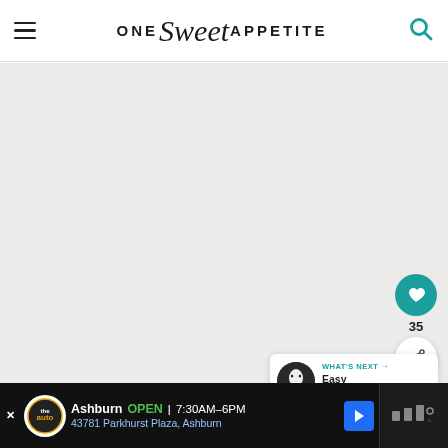ONE Sweet APPETITE
[Figure (photo): Large light gray placeholder image area below the site header]
[Figure (infographic): Floating UI controls: teal heart/like button, count 35, white share button, and What's Next card with ghost thumbnail and text 'Easy Halloween...']
[Figure (screenshot): Ad bar at bottom: The Auto logo, Ashburn OPEN 7:30AM-6PM, 43781 Parkhurst Plaza Ashburn, navigation arrow icon, and right section with dark background]